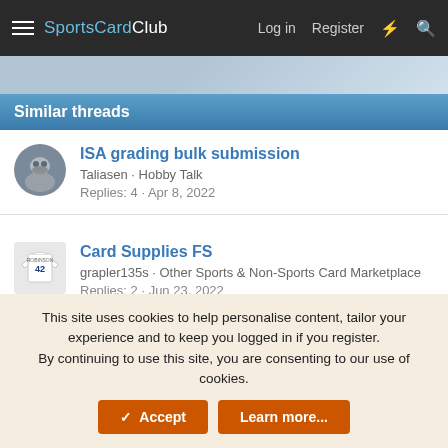SportsCardClub — Log in   Register
Similar threads
ISA grading bulk submission
Taliasen · Hobby Talk
Replies: 4 · Apr 8, 2022
Card Supplies FS
grapler135s · Other Sports & Non-Sports Card Marketplace
Replies: 2 · Jun 23, 2022
WTTF: 1963 Topps Baseball
AndyDrummond · Baseball Set Building
Replies: 8 · Aug 5, 2022
This site uses cookies to help personalise content, tailor your experience and to keep you logged in if you register.
By continuing to use this site, you are consenting to our use of cookies.